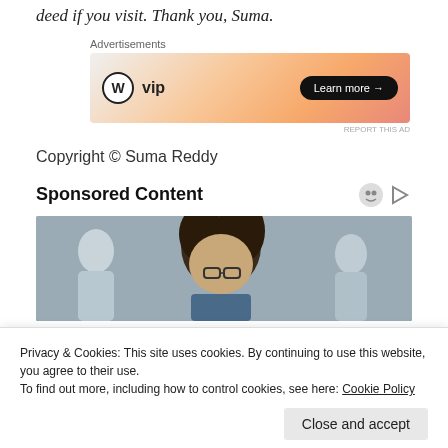deed if you visit. Thank you, Suma.
[Figure (other): WordPress VIP advertisement banner with orange gradient background and Learn more button]
REPORT THIS AD
Copyright © Suma Reddy
Sponsored Content
[Figure (photo): Photo of a woman with curly hair and glasses, with people in background]
Privacy & Cookies: This site uses cookies. By continuing to use this website, you agree to their use.
To find out more, including how to control cookies, see here: Cookie Policy
Close and accept